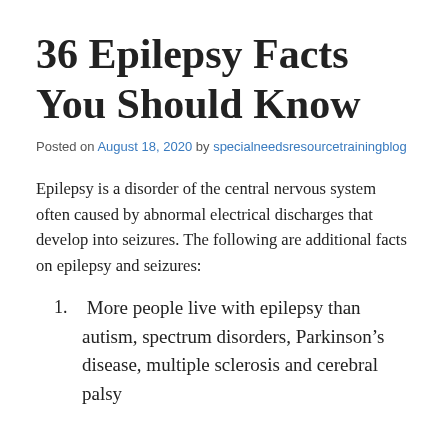36 Epilepsy Facts You Should Know
Posted on August 18, 2020 by specialneedsresourcetrainingblog
Epilepsy is a disorder of the central nervous system often caused by abnormal electrical discharges that develop into seizures. The following are additional facts on epilepsy and seizures:
More people live with epilepsy than autism, spectrum disorders, Parkinson's disease, multiple sclerosis and cerebral palsy